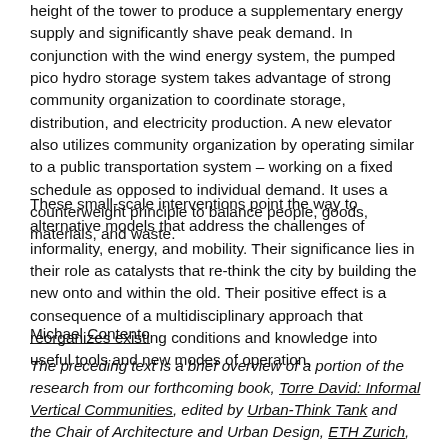height of the tower to produce a supplementary energy supply and significantly shave peak demand. In conjunction with the wind energy system, the pumped pico hydro storage system takes advantage of strong community organization to coordinate storage, distribution, and electricity production. A new elevator also utilizes community organization by operating similar to a public transportation system – working on a fixed schedule as opposed to individual demand. It uses a counterweight principle to balance people, goods, materials, and waste.
These small-scale interventions point the way to alternative models that address the challenges of informality, energy, and mobility. Their significance lies in their role as catalysts that re-think the city by building the new onto and within the old. Their positive effect is a consequence of a multidisciplinary approach that reorganizes existing conditions and knowledge into useful tools and new modes of operation.
Michael Contento
The preceding text is a brief overview of a portion of the research from our forthcoming book, Torre David: Informal Vertical Communities, edited by Urban-Think Tank and the Chair of Architecture and Urban Design, ETH Zurich, with contributions by Alfredo Brillembourg & Hubert Klumpner, Andres Lepik, Christian